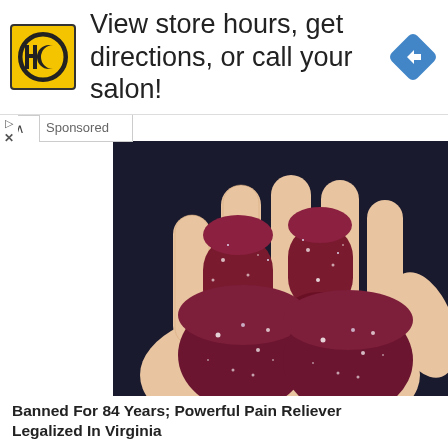[Figure (screenshot): Top advertisement banner showing HC (Hair Club) yellow square logo, text 'View store hours, get directions, or call your salon!' and a blue diamond navigation arrow icon on the right]
Sponsored
[Figure (photo): Close-up photo of a hand holding several dark red/maroon sugar-coated gummy candies against a dark background]
Banned For 84 Years; Powerful Pain Reliever Legalized In Virginia